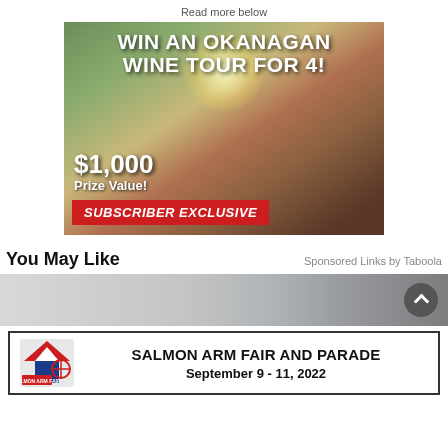Read more below
[Figure (illustration): Advertisement banner: WIN AN OKANAGAN WINE TOUR FOR 4! with $1,000 Prize Value! SUBSCRIBER EXCLUSIVE. Shows people toasting wine glasses outdoors.]
You May Like
Sponsored Links by Taboola
[Figure (photo): Thumbnail strip of recommended content images]
[Figure (illustration): Salmon Arm Fair and Parade advertisement banner: SALMON ARM FAIR AND PARADE September 9 - 11, 2022]